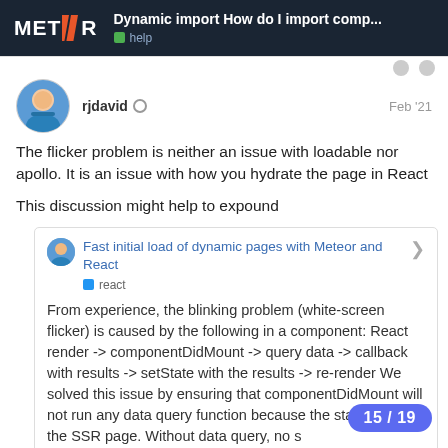Dynamic import How do I import comp... | help
rjdavid · Feb '21
The flicker problem is neither an issue with loadable nor apollo. It is an issue with how you hydrate the page in React
This discussion might help to expound
Fast initial load of dynamic pages with Meteor and React · react

From experience, the blinking problem (white-screen flicker) is caused by the following in a component: React render -> componentDidMount -> query data -> callback with results -> setState with the results -> re-render We solved this issue by ensuring that componentDidMount will not run any data query function because the state already ... the SSR page. Without data query, no s...